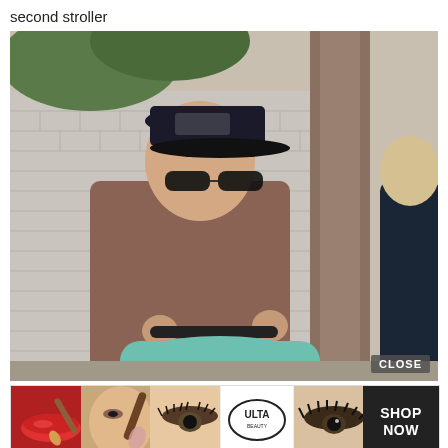second stroller
[Figure (photo): A man wearing a dark baseball cap, sunglasses, and a brown hoodie pushes a teal/mint-colored stroller outdoors. A brick wall and a tree are visible in the background. On the right edge, a woman in a dark puffer jacket is partially visible. A 'CLOSE' button overlay appears at the bottom right of the photo.]
[Figure (photo): Advertisement banner for ULTA Beauty showing close-up images of makeup looks (red lips, makeup brush, eye with mascara, the ULTA Beauty logo, dramatic eye makeup) with a 'SHOP NOW' button on the right.]